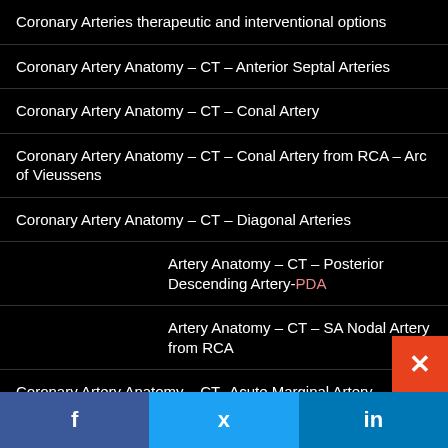Coronary Arteries therapeutic and interventional options
Coronary Artery Anatomy – CT – Anterior Septal Arteries
Coronary Artery Anatomy – CT – Conal Artery
Coronary Artery Anatomy – CT – Conal Artery from RCA – Arc of Vieussens
Coronary Artery Anatomy – CT – Diagonal Arteries
Coronary Artery Anatomy – CT – Posterior Descending Artery-PDA
Coronary Artery Anatomy – CT – SA Nodal Artery from RCA
Coronary Artery Anatomy – CT -Acute Marginal Artery
Coronary Artery Anatomy – CT -AV Nodal Artery
Coronary Artery Anatomy – CT- Posterior Left Ventricular Arteries
Coronary Artery Anatomy Injected Post Mortem